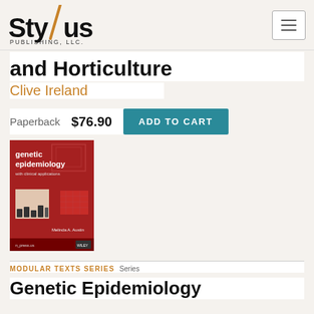[Figure (logo): Stylus Publishing LLC logo with diagonal slash motif]
and Horticulture
Clive Ireland
Paperback  $76.90  ADD TO CART
[Figure (photo): Book cover: Genetic Epidemiology with red circuit-board style background]
MODULAR TEXTS SERIES  Series
Genetic Epidemiology